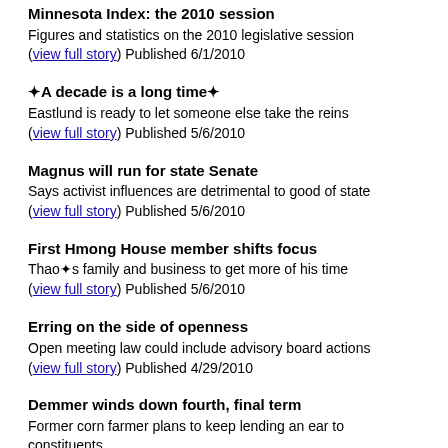Minnesota Index: the 2010 session
Figures and statistics on the 2010 legislative session (view full story) Published 6/1/2010
❖A decade is a long time❖
Eastlund is ready to let someone else take the reins (view full story) Published 5/6/2010
Magnus will run for state Senate
Says activist influences are detrimental to good of state (view full story) Published 5/6/2010
First Hmong House member shifts focus
Thao❖s family and business to get more of his time (view full story) Published 5/6/2010
Erring on the side of openness
Open meeting law could include advisory board actions (view full story) Published 4/29/2010
Demmer winds down fourth, final term
Former corn farmer plans to keep lending an ear to constituents